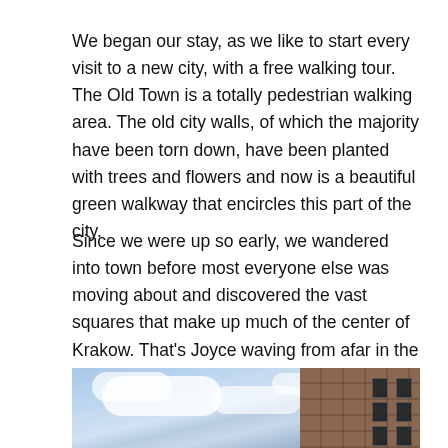We began our stay, as we like to start every visit to a new city, with a free walking tour. The Old Town is a totally pedestrian walking area. The old city walls, of which the majority have been torn down, have been planted with trees and flowers and now is a beautiful green walkway that encircles this part of the city.
Since we were up so early, we wandered into town before most everyone else was moving about and discovered the vast squares that make up much of the center of Krakow. That's Joyce waving from afar in the first square we wandered into on our way to meet our walking tour.
[Figure (photo): Photo of a square in Krakow with blue sky and white clouds visible, and a historic brick building on the right side. The image is partially cut off at the bottom of the page.]